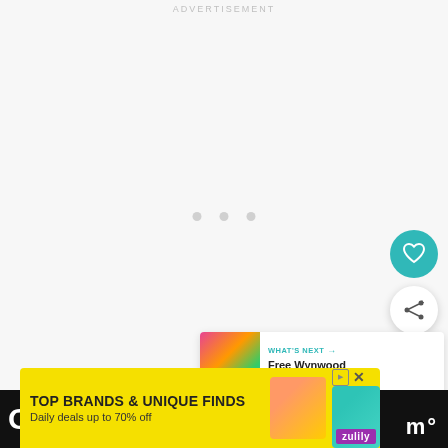ADVERTISEMENT
[Figure (other): Large blank/loading advertisement area with three small grey loading dots in the center]
[Figure (other): Teal circular FAB button with white heart icon]
[Figure (other): White circular FAB button with share/connect icon]
[Figure (other): What's Next card with thumbnail image and text 'Free Wynwood Life Street...']
[Figure (other): Zulily ad banner: TOP BRANDS & UNIQUE FINDS, Daily deals up to 70% off]
Ot nd